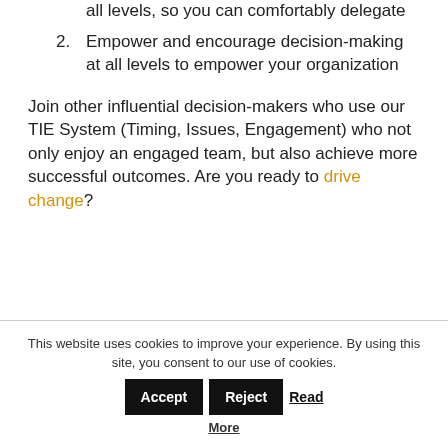all levels, so you can comfortably delegate
2. Empower and encourage decision-making at all levels to empower your organization
Join other influential decision-makers who use our TIE System (Timing, Issues, Engagement) who not only enjoy an engaged team, but also achieve more successful outcomes. Are you ready to drive change?
This website uses cookies to improve your experience. By using this site, you consent to our use of cookies. Accept Reject Read More